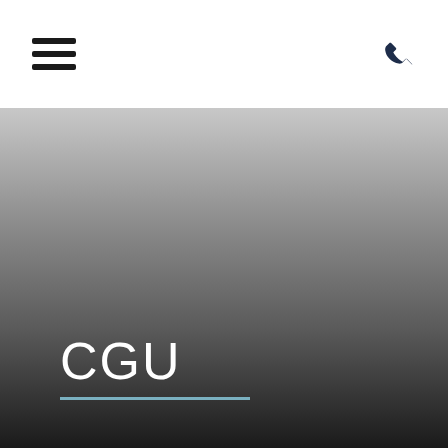CGU navigation header with hamburger menu and phone icon
[Figure (screenshot): Hero section with dark gradient background (light gray at top fading to near-black at bottom)]
CGU